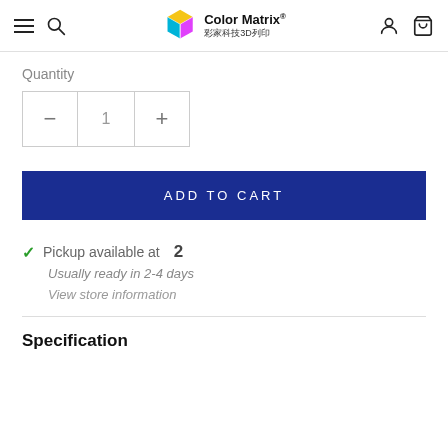Color Matrix® 彩家科技3D列印
Quantity
— 1 +
ADD TO CART
✓ Pickup available at 2
Usually ready in 2-4 days
View store information
Specification